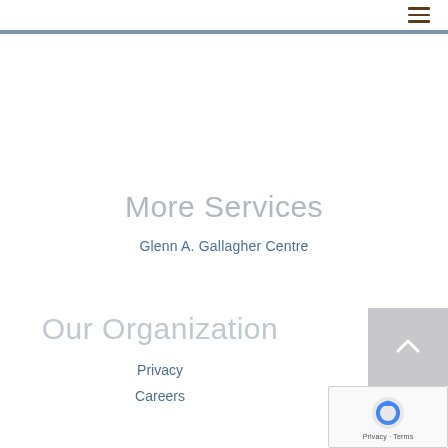Navigation menu icon (hamburger)
More Services
Glenn A. Gallagher Centre
Our Organization
Privacy
Careers